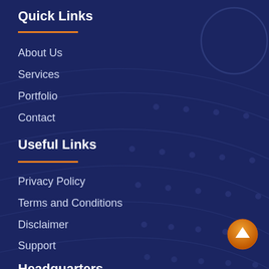Quick Links
About Us
Services
Portfolio
Contact
Useful Links
Privacy Policy
Terms and Conditions
Disclaimer
Support
Headquarters